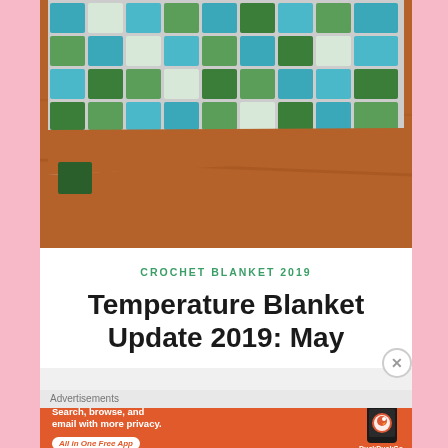[Figure (photo): Photo of a colorful crocheted blanket with green, teal/blue, and white square patches laid on a wooden floor. The bottom-left corner of the blanket hangs off, showing individual squares.]
CROCHET BLANKET 2019
Temperature Blanket Update 2019: May
Advertisements
[Figure (screenshot): DuckDuckGo advertisement banner with orange background. Left side shows text: 'Search, browse, and email with more privacy.' with a white rounded button 'All in One Free App'. Right side shows a dark smartphone displaying the DuckDuckGo logo and the text 'DuckDuckGo.' below.]